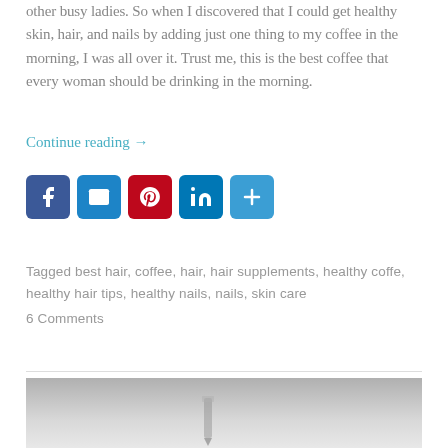other busy ladies. So when I discovered that I could get healthy skin, hair, and nails by adding just one thing to my coffee in the morning, I was all over it. Trust me, this is the best coffee that every woman should be drinking in the morning.
Continue reading →
[Figure (other): Social sharing icons: Facebook (blue), Email (blue), Pinterest (red), LinkedIn (blue), More/Plus (blue)]
Tagged best hair, coffee, hair, hair supplements, healthy coffe, healthy hair tips, healthy nails, nails, skin care
6 Comments
[Figure (photo): Bottom partial image, appears to be a grayscale photo, likely showing a pen or pencil on a surface]